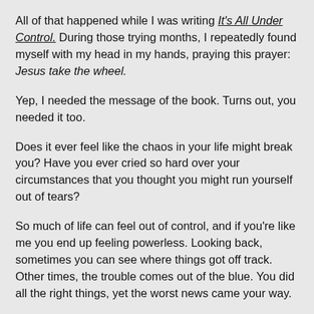All of that happened while I was writing It's All Under Control. During those trying months, I repeatedly found myself with my head in my hands, praying this prayer: Jesus take the wheel.
Yep, I needed the message of the book. Turns out, you needed it too.
Does it ever feel like the chaos in your life might break you? Have you ever cried so hard over your circumstances that you thought you might run yourself out of tears?
So much of life can feel out of control, and if you're like me you end up feeling powerless. Looking back, sometimes you can see where things got off track. Other times, the trouble comes out of the blue. You did all the right things, yet the worst news came your way.